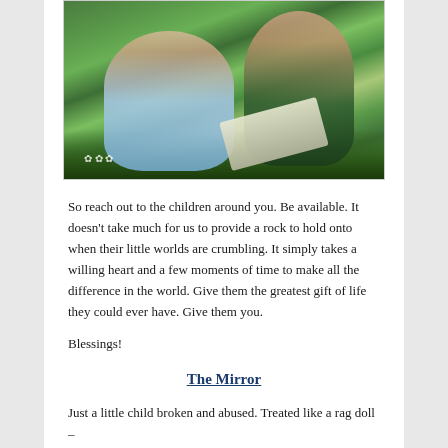[Figure (photo): A woman and a young girl lying in grass reading a book together outdoors]
So reach out to the children around you.  Be available. It doesn’t take much for us to provide a rock to hold onto when their little worlds are crumbling.  It simply takes a willing heart and a few moments of time to make all the difference in the world.  Give them the greatest gift of life they could ever have.  Give them you.
Blessings!
The Mirror
Just a little child broken and abused.  Treated like a rag doll –